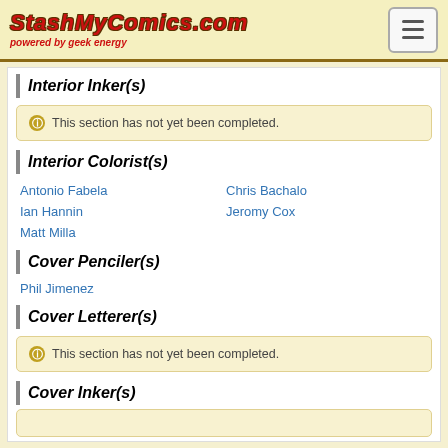StashMyComics.com powered by geek energy
Interior Inker(s)
This section has not yet been completed.
Interior Colorist(s)
Antonio Fabela
Chris Bachalo
Ian Hannin
Jeromy Cox
Matt Milla
Cover Penciler(s)
Phil Jimenez
Cover Letterer(s)
This section has not yet been completed.
Cover Inker(s)